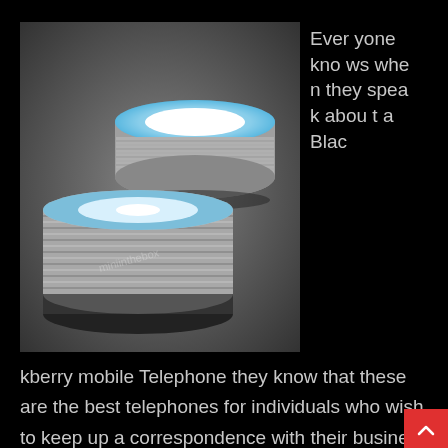[Figure (photo): Two spools of solder wire (tin/lead wire reels) with blue and white checkered tops, on a dark background. One spool is slightly behind the other.]
Everyone knows when they speak about a Blackberry mobile Telephone they know that these are the best telephones for individuals who wish to keep up a correspondence with their business